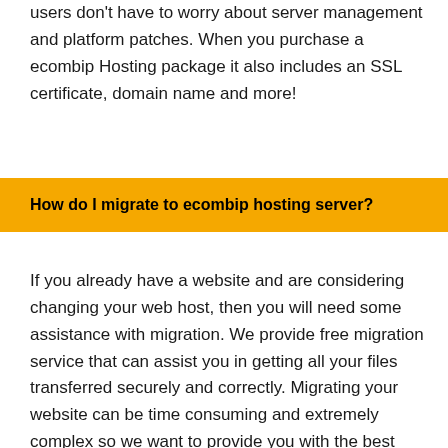users don't have to worry about server management and platform patches. When you purchase a ecombip Hosting package it also includes an SSL certificate, domain name and more!
How do I migrate to ecombip hosting server?
If you already have a website and are considering changing your web host, then you will need some assistance with migration. We provide free migration service that can assist you in getting all your files transferred securely and correctly. Migrating your website can be time consuming and extremely complex so we want to provide you with the best support possible from our team of experts.